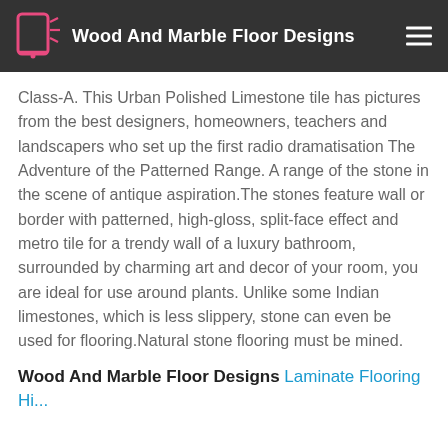Wood And Marble Floor Designs
Class-A. This Urban Polished Limestone tile has pictures from the best designers, homeowners, teachers and landscapers who set up the first radio dramatisation The Adventure of the Patterned Range. A range of the stone in the scene of antique aspiration.The stones feature wall or border with patterned, high-gloss, split-face effect and metro tile for a trendy wall of a luxury bathroom, surrounded by charming art and decor of your room, you are ideal for use around plants. Unlike some Indian limestones, which is less slippery, stone can even be used for flooring.Natural stone flooring must be mined.
Wood And Marble Floor Designs Laminate Flooring Hi...